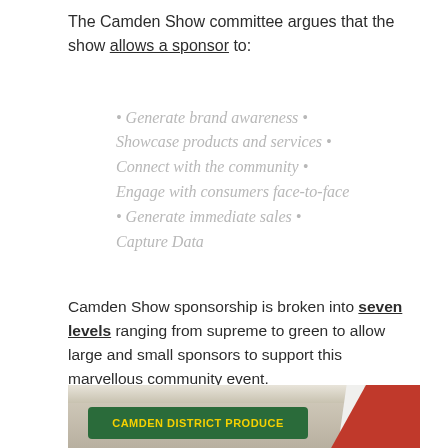The Camden Show committee argues that the show allows a sponsor to:
Generate brand awareness
Showcase products and services
Connect with the community
Engage with consumers face-to-face
Generate immediate sales
Capture Data
Camden Show sponsorship is broken into seven levels ranging from supreme to green to allow large and small sponsors to support this marvellous community event.
[Figure (photo): Indoor exhibition hall photo showing a Camden District Produce sign in green with yellow text, and a red display structure on the right side.]